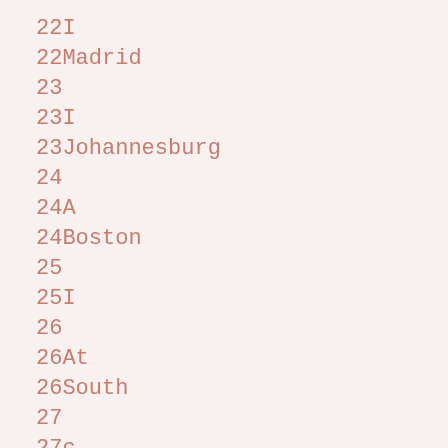22I
22Madrid
23
23I
23Johannesburg
24
24A
24Boston
25
25I
26
26At
26South
27
27c